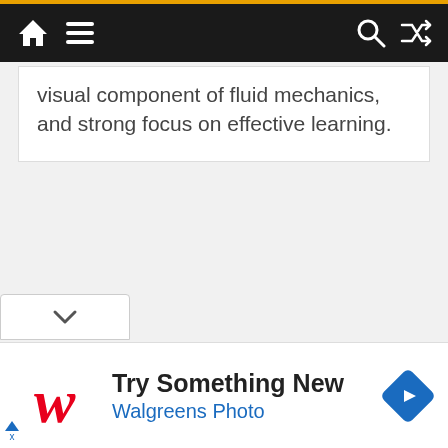[Figure (screenshot): Navigation bar with home icon, hamburger menu, search icon, and shuffle icon on dark background with orange top border]
visual component of fluid mechanics, and strong focus on effective learning.
[Figure (other): Accordion chevron collapse/expand button]
[Figure (other): Walgreens advertisement banner: Try Something New - Walgreens Photo, with Walgreens cursive W logo and blue diamond arrow icon]